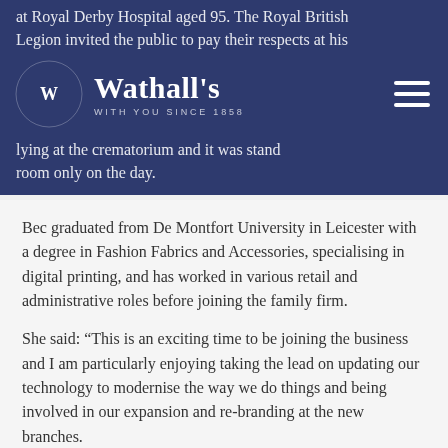at Royal Derby Hospital aged 95. The Royal British Legion invited the public to pay their respects at his lying at the crematorium and it was standing room only on the day.
[Figure (logo): Wathall's funeral directors logo — circular wreath icon with W, text 'Wathall's' and tagline 'WITH YOU SINCE 1858']
Bec graduated from De Montfort University in Leicester with a degree in Fashion Fabrics and Accessories, specialising in digital printing, and has worked in various retail and administrative roles before joining the family firm.
She said: “This is an exciting time to be joining the business and I am particularly enjoying taking the lead on updating our technology to modernise the way we do things and being involved in our expansion and re-branding at the new branches.
“There is an element of pressure and expectation on us as the latest generation to join the business but we are keen to embrace the historical values that G. Wathall &